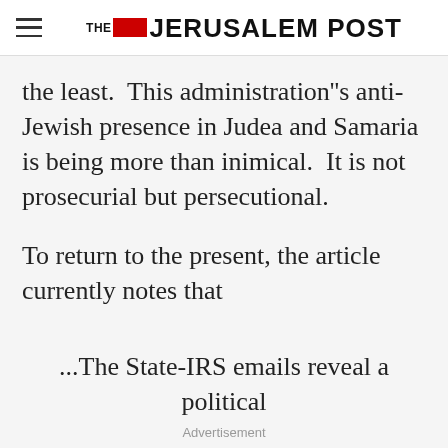THE JERUSALEM POST
the least.  This administration''s anti-Jewish presence in Judea and Samaria is being more than inimical.  It is not prosecurial but persecutional.
To return to the present, the article currently notes that
...The State-IRS emails reveal a political
Advertisement